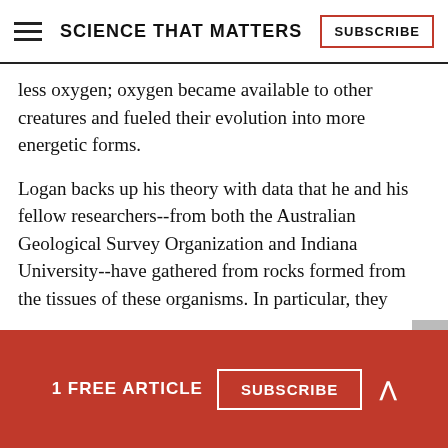SCIENCE THAT MATTERS
less oxygen; oxygen became available to other creatures and fueled their evolution into more energetic forms.
Logan backs up his theory with data that he and his fellow researchers--from both the Australian Geological Survey Organization and Indiana University--have gathered from rocks formed from the tissues of these organisms. In particular, they
1 FREE ARTICLE  SUBSCRIBE